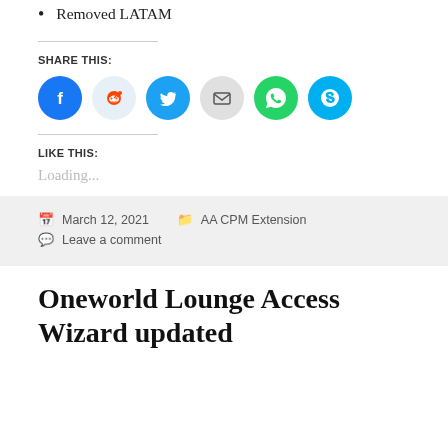Removed LATAM
SHARE THIS:
[Figure (infographic): Social sharing icons: Facebook (blue), Reddit (light blue), Twitter (blue), Email (gray), WhatsApp (green), Skype (blue)]
LIKE THIS:
Loading...
March 12, 2021 AA CPM Extension Leave a comment
Oneworld Lounge Access Wizard updated